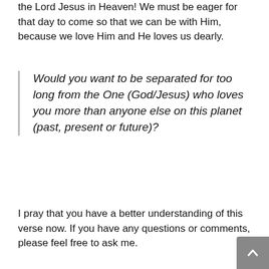the Lord Jesus in Heaven! We must be eager for that day to come so that we can be with Him, because we love Him and He loves us dearly.
Would you want to be separated for too long from the One (God/Jesus) who loves you more than anyone else on this planet (past, present or future)?
I pray that you have a better understanding of this verse now. If you have any questions or comments, please feel free to ask me.